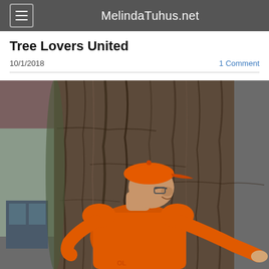MelindaTuhus.net
Tree Lovers United
10/1/2018
1 Comment
[Figure (photo): A person wearing an orange cap and orange shirt hugging a large tree trunk, smiling. A house is visible in the background on the left.]